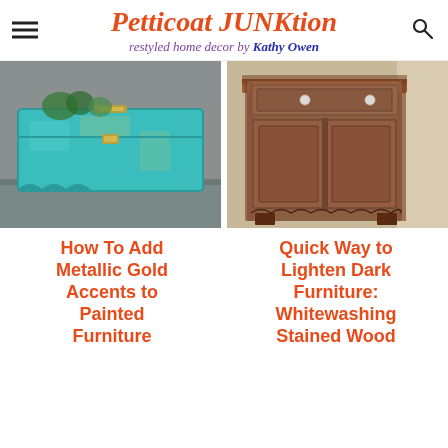Petticoat JUNKtion — restyled home decor by Kathy Owen
[Figure (photo): Turquoise painted vintage metal chest/trunk sitting on a surface outdoors, with plants in background]
[Figure (photo): Dark brown wooden cabinet with two doors and a drawer, ornate carved trim, with metal knobs, sitting on carpet next to a light-colored surface]
How To Add Metallic Gold Accents to Painted Furniture
Quick Way to Lighten Dark Furniture: Whitewashing Stained Wood